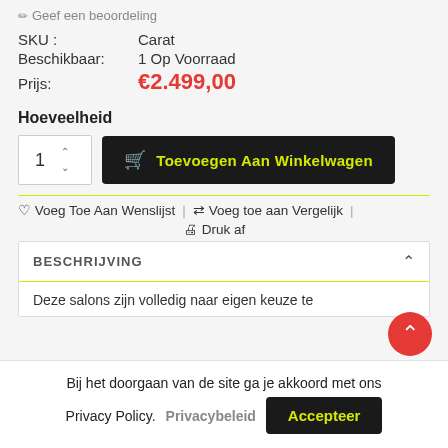✏ Geef een beoordeling
| Label | Value |
| --- | --- |
| SKU : | Carat |
| Beschikbaar: | 1 Op Voorraad |
| Prijs: | €2.499,00 |
Hoeveelheid
1  🛒 Toevoegen Aan Winkelwagen
♡ Voeg Toe Aan Wenslijst | ⇄ Voeg toe aan Vergelijk | ⊟ Druk af
BESCHRIJVING
Deze salons zijn volledig naar eigen keuze te
Bij het doorgaan van de site ga je akkoord met ons Privacy Policy. Privacybeleid  Accepteer